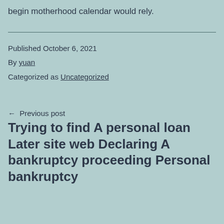begin motherhood calendar would rely.
Published October 6, 2021
By yuan
Categorized as Uncategorized
← Previous post
Trying to find A personal loan Later site web Declaring A bankruptcy proceeding Personal bankruptcy